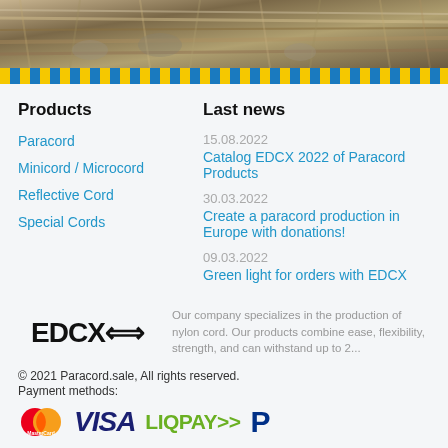[Figure (photo): Photo of paracord/rope products on rocks, brown and grey tones]
[Figure (other): Yellow and blue diagonal stripe decorative bar]
Products
Paracord
Minicord / Microcord
Reflective Cord
Special Cords
Last news
15.08.2022
Catalog EDCX 2022 of Paracord Products
30.03.2022
Create a paracord production in Europe with donations!
09.03.2022
Green light for orders with EDCX
[Figure (logo): EDCX logo in bold black text]
Our company specializes in the production of nylon cord. Our products combine ease, flexibility, strength, and can withstand up to 2...
© 2021 Paracord.sale, All rights reserved.
Payment methods:
[Figure (logo): Payment logos: MasterCard, VISA, LIQPAY, PayPal]